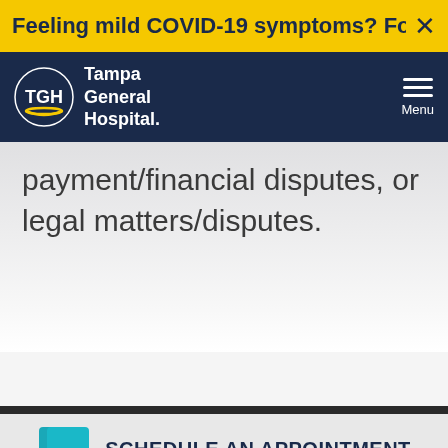Feeling mild COVID-19 symptoms? For the...
[Figure (logo): Tampa General Hospital (TGH) logo — circular TGH emblem with Tampa General Hospital wordmark in white on navy background]
payment/financial disputes, or legal matters/disputes.
SCHEDULE AN APPOINTMENT